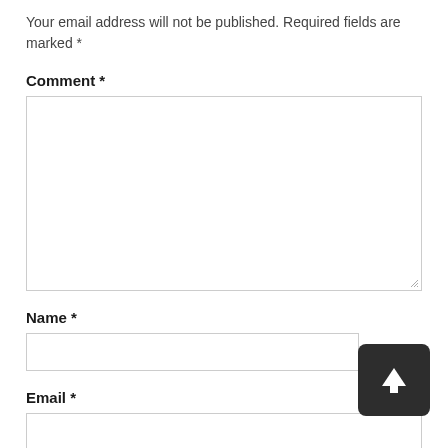Your email address will not be published. Required fields are marked *
Comment *
[Figure (other): Empty comment text area input box with resize handle]
Name *
[Figure (other): Empty name text input field]
[Figure (other): Upload/scroll-to-top button with upward arrow icon, dark background]
Email *
[Figure (other): Empty email text input field]